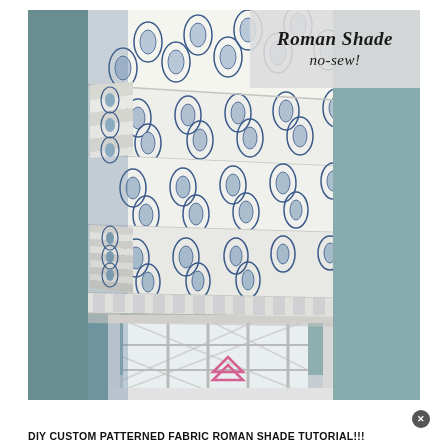[Figure (photo): A DIY Roman shade made from white fabric with a blue botanical/paisley block print pattern, partially raised in accordion folds, hanging in a window with diamond-patterned glazing bars. The room walls are light teal/blue-gray, and a framed landscape painting is visible to the right.]
Roman Shade no-sew!
DIY CUSTOM PATTERNED FABRIC ROMAN SHADE TUTORIAL!!!